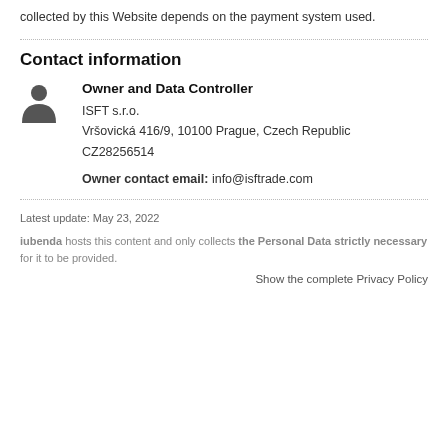collected by this Website depends on the payment system used.
Contact information
Owner and Data Controller
ISFT s.r.o.
Vršovická 416/9, 10100 Prague, Czech Republic
CZ28256514

Owner contact email: info@isftrade.com
Latest update: May 23, 2022
iubenda hosts this content and only collects the Personal Data strictly necessary for it to be provided.
Show the complete Privacy Policy